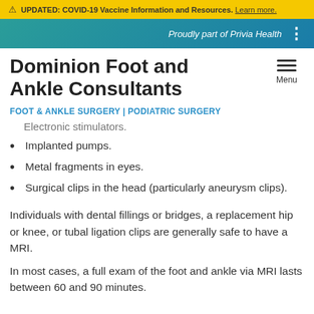UPDATED: COVID-19 Vaccine Information and Resources. Learn more.
Proudly part of Privia Health
Dominion Foot and Ankle Consultants
FOOT & ANKLE SURGERY | PODIATRIC SURGERY
Electronic stimulators.
Implanted pumps.
Metal fragments in eyes.
Surgical clips in the head (particularly aneurysm clips).
Individuals with dental fillings or bridges, a replacement hip or knee, or tubal ligation clips are generally safe to have a MRI.
In most cases, a full exam of the foot and ankle via MRI lasts between 60 and 90 minutes.